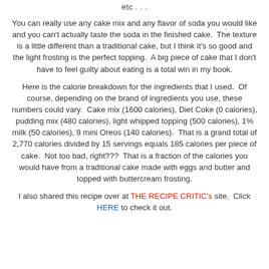etc . . .
You can really use any cake mix and any flavor of soda you would like and you can't actually taste the soda in the finished cake.  The texture is a little different than a traditional cake, but I think it's so good and the light frosting is the perfect topping.  A big piece of cake that I don't have to feel guilty about eating is a total win in my book.
Here is the calorie breakdown for the ingredients that I used.  Of course, depending on the brand of ingredients you use, these numbers could vary.  Cake mix (1600 calories), Diet Coke (0 calories), pudding mix (480 calories), light whipped topping (500 calories), 1% milk (50 calories), 9 mini Oreos (140 calories).  That is a grand total of 2,770 calories divided by 15 servings equals 185 calories per piece of cake.  Not too bad, right???  That is a fraction of the calories you would have from a traditional cake made with eggs and butter and topped with buttercream frosting.
I also shared this recipe over at THE RECIPE CRITIC's site.  Click HERE to check it out.